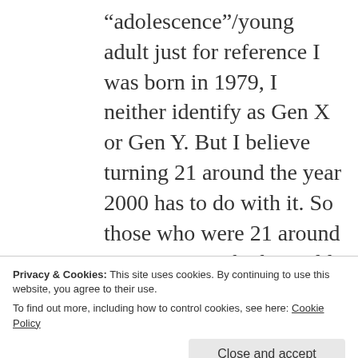“adolescence”/young adult just for reference I was born in 1979, I neither identify as Gen X or Gen Y. But I believe turning 21 around the year 2000 has to do with it. So those who were 21 around 2000-2001. Which would make oldest Mellineals at 1978. I think the cut off
Privacy & Cookies: This site uses cookies. By continuing to use this website, you agree to their use.
To find out more, including how to control cookies, see here: Cookie Policy
Close and accept
Rob Anderson · June 24, 2014 at 10:42 pm